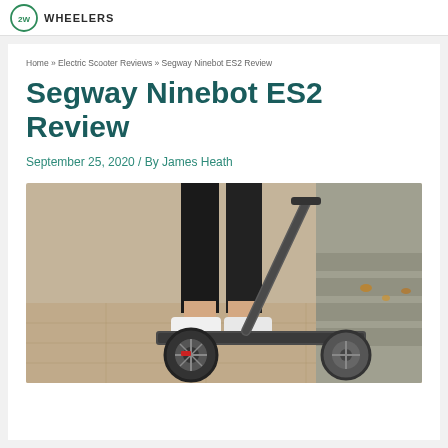WHEELERS
Home » Electric Scooter Reviews » Segway Ninebot ES2 Review
Segway Ninebot ES2 Review
September 25, 2020 / By James Heath
[Figure (photo): Person riding a Segway Ninebot ES2 electric scooter on a sidewalk, wearing black pants and white sneakers. Scooter is dark gray/black. Background shows stone steps and pavement.]